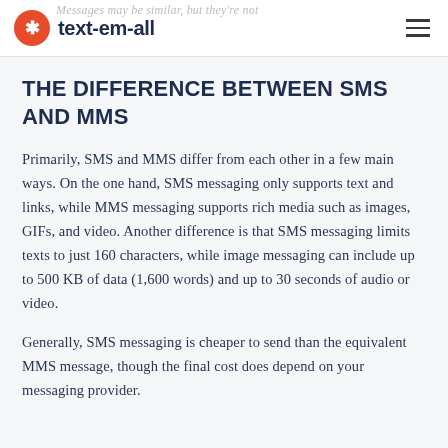text-em-all
THE DIFFERENCE BETWEEN SMS AND MMS
Primarily, SMS and MMS differ from each other in a few main ways. On the one hand, SMS messaging only supports text and links, while MMS messaging supports rich media such as images, GIFs, and video. Another difference is that SMS messaging limits texts to just 160 characters, while image messaging can include up to 500 KB of data (1,600 words) and up to 30 seconds of audio or video.
Generally, SMS messaging is cheaper to send than the equivalent MMS message, though the final cost does depend on your messaging provider.